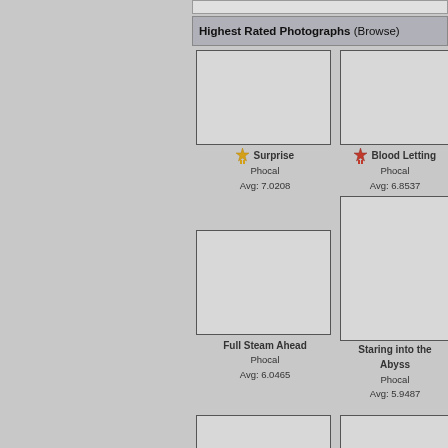Highest Rated Photographs (Browse)
[Figure (photo): Empty photo placeholder box top-left]
[Figure (photo): Empty photo placeholder box top-right]
🏅 Surprise
Phocal
Avg: 7.0208
🏅 Blood Letting
Phocal
Avg: 6.8537
[Figure (photo): Empty photo placeholder box middle-left]
[Figure (photo): Empty photo placeholder box middle-right]
Full Steam Ahead
Phocal
Avg: 6.0465
Staring into the Abyss
Phocal
Avg: 5.9487
[Figure (photo): Empty photo placeholder box bottom-left]
[Figure (photo): Empty photo placeholder box bottom-right]